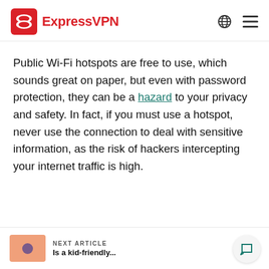ExpressVPN
Public Wi-Fi hotspots are free to use, which sounds great on paper, but even with password protection, they can be a hazard to your privacy and safety. In fact, if you must use a hotspot, never use the connection to deal with sensitive information, as the risk of hackers intercepting your internet traffic is high.
NEXT ARTICLE
Is a kid-friendly...